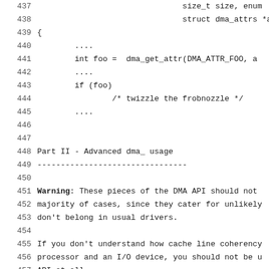437   size_t size, enum ...
438   struct dma_attrs *a...
439 {
440         ....
441         int foo =  dma_get_attr(DMA_ATTR_FOO, a...
442         ....
443         if (foo)
444                 /* twizzle the frobnozzle */
445         ....
446
447
448 Part II - Advanced dma_ usage
449 --------------------------------
450
451 Warning: These pieces of the DMA API should not...
452 majority of cases, since they cater for unlikely...
453 don't belong in usual drivers.
454
455 If you don't understand how cache line coherency...
456 processor and an I/O device, you should not be u...
457 API at all.
458